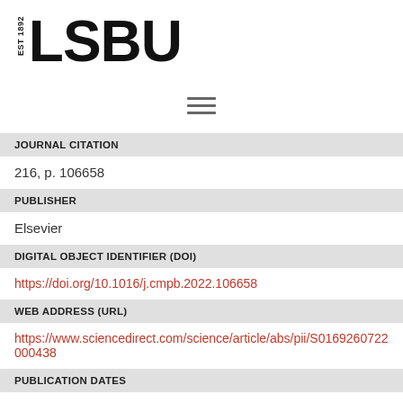EST 1892 LSBU
| JOURNAL CITATION | 216, p. 106658 |
| PUBLISHER | Elsevier |
| DIGITAL OBJECT IDENTIFIER (DOI) | https://doi.org/10.1016/j.cmpb.2022.106658 |
| WEB ADDRESS (URL) | https://www.sciencedirect.com/science/article/abs/pii/S0169260722000438 |
| PUBLICATION DATES | PRINT |